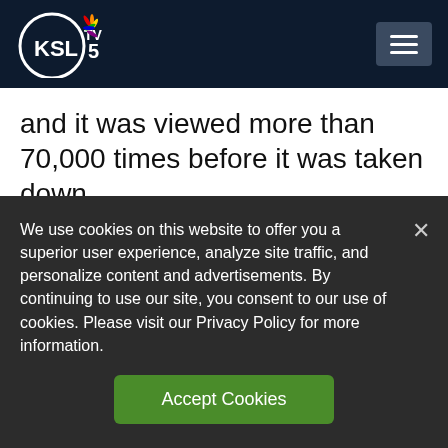[Figure (logo): KSL TV 5 logo with NBC peacock on dark navy header bar, with hamburger menu button on right]
and it was viewed more than 70,000 times before it was taken down.
The Salt Lake County Health Department also got wind of it and sent out an inspector, who ordered the restaurant to shut down Sunday
We use cookies on this website to offer you a superior user experience, analyze site traffic, and personalize content and advertisements. By continuing to use our site, you consent to our use of cookies. Please visit our Privacy Policy for more information.
Accept Cookies